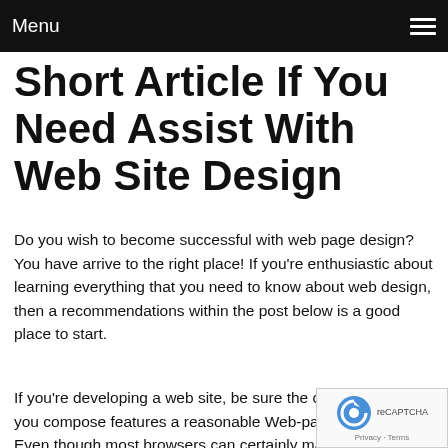Menu
Short Article If You Need Assist With Web Site Design
Do you wish to become successful with web page design? You have arrive to the right place! If you're enthusiastic about learning everything that you need to know about web design, then a recommendations within the post below is a good place to start.
If you're developing a web site, be sure the computer code you compose features a reasonable Web-page coding+CSS. Even though most browsers can certainly make sense of rule isn't valid, it could be provided properly or wrongly. Good will deliver exactly the same way usually in present day